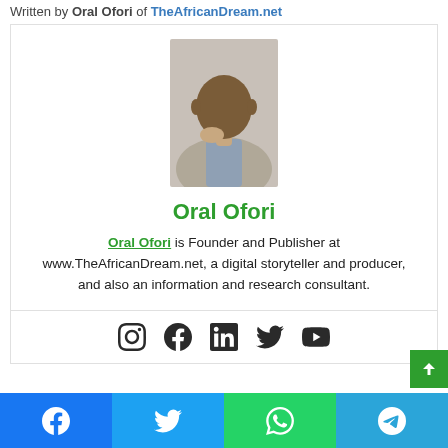Written by Oral Ofori of TheAfricanDream.net
[Figure (photo): Portrait photo of Oral Ofori, a man in a grey jacket resting his chin on his hand]
Oral Ofori
Oral Ofori is Founder and Publisher at www.TheAfricanDream.net, a digital storyteller and producer, and also an information and research consultant.
[Figure (infographic): Social media icons: Instagram, Facebook, LinkedIn, Twitter, YouTube]
[Figure (infographic): Share bar with Facebook, Twitter, WhatsApp, Telegram buttons]